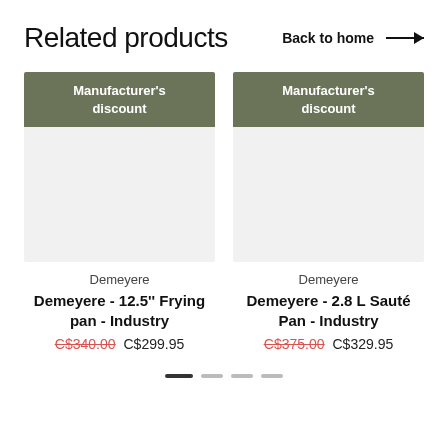Related products
Back to home →
[Figure (photo): Product card image placeholder with Manufacturer's discount badge, for Demeyere 12.5'' Frying pan - Industry]
Demeyere
Demeyere - 12.5'' Frying pan - Industry
C$340.00  C$299.95
[Figure (photo): Product card image placeholder with Manufacturer's discount badge, for Demeyere 2.8 L Sauté Pan - Industry]
Demeyere
Demeyere - 2.8 L Sauté Pan - Industry
C$375.00  C$329.95